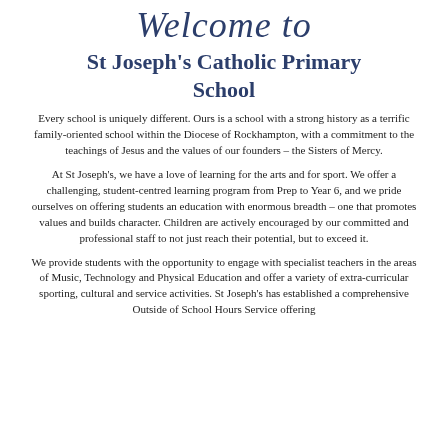Welcome to
St Joseph's Catholic Primary School
Every school is uniquely different. Ours is a school with a strong history as a terrific family-oriented school within the Diocese of Rockhampton, with a commitment to the teachings of Jesus and the values of our founders – the Sisters of Mercy.
At St Joseph's, we have a love of learning for the arts and for sport. We offer a challenging, student-centred learning program from Prep to Year 6, and we pride ourselves on offering students an education with enormous breadth – one that promotes values and builds character. Children are actively encouraged by our committed and professional staff to not just reach their potential, but to exceed it.
We provide students with the opportunity to engage with specialist teachers in the areas of Music, Technology and Physical Education and offer a variety of extra-curricular sporting, cultural and service activities. St Joseph's has established a comprehensive Outside of School Hours Service offering...